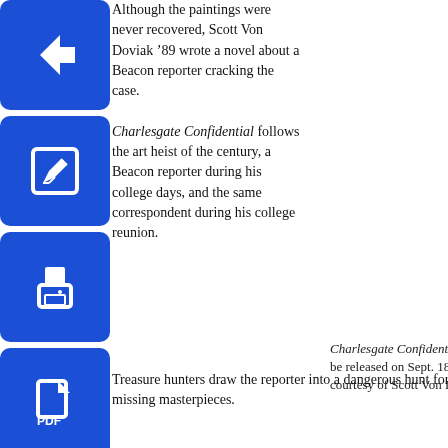[Figure (illustration): Four blue rounded square icon buttons stacked vertically on the left: back arrow, edit/pencil, print, and PDF document icons]
Although the paintings were never recovered, Scott Von Doviak ’89 wrote a novel about a Beacon reporter cracking the case.

Charlesgate Confidential follows the art heist of the century, a Beacon reporter during his college days, and the same correspondent during his college reunion. Treasure hunters draw the reporter into a dangerous hunt for the missing masterpieces.
Charlesgate Confidential will be released on Sept. 18. Photo courtesy of Scott Von Doviak.